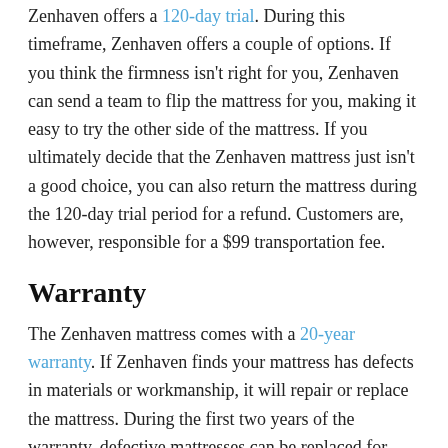Zenhaven offers a 120-day trial. During this timeframe, Zenhaven offers a couple of options. If you think the firmness isn't right for you, Zenhaven can send a team to flip the mattress for you, making it easy to try the other side of the mattress. If you ultimately decide that the Zenhaven mattress just isn't a good choice, you can also return the mattress during the 120-day trial period for a refund. Customers are, however, responsible for a $99 transportation fee.
Warranty
The Zenhaven mattress comes with a 20-year warranty. If Zenhaven finds your mattress has defects in materials or workmanship, it will repair or replace the mattress. During the first two years of the warranty, defective mattresses can be replaced for free. After two years, Zenhaven will repair defective mattresses, though customers are responsible for transportation costs.